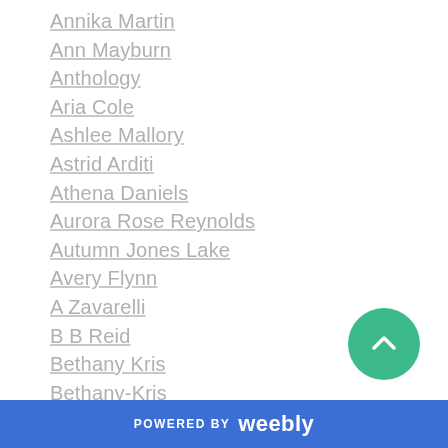Annika Martin
Ann Mayburn
Anthology
Aria Cole
Ashlee Mallory
Astrid Arditi
Athena Daniels
Aurora Rose Reynolds
Autumn Jones Lake
Avery Flynn
A Zavarelli
B B Reid
Bethany Kris
Bethany-Kris
Beth Ehemann
Beverley Oakley
Bink Cummings
POWERED BY weebly